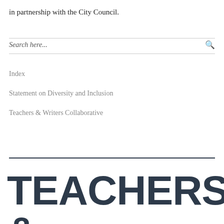in partnership with the City Council.
Search here...
Index
Statement on Diversity and Inclusion
Teachers & Writers Collaborative
TEACHERS &